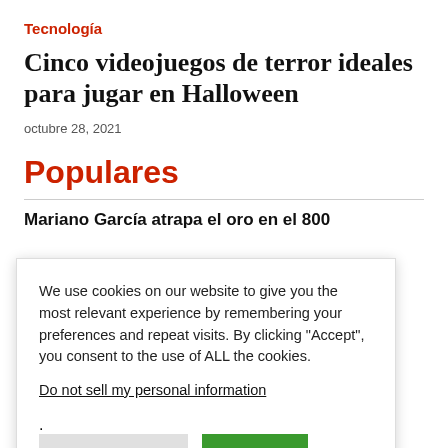Tecnología
Cinco videojuegos de terror ideales para jugar en Halloween
octubre 28, 2021
Populares
Mariano García atrapa el oro en el 800
es el salón de uruguayos
We use cookies on our website to give you the most relevant experience by remembering your preferences and repeat visits. By clicking "Accept", you consent to the use of ALL the cookies.
Do not sell my personal information.
Cookie Settings   Accept
ómo fue su
casting con pleno escena de  Top Gun